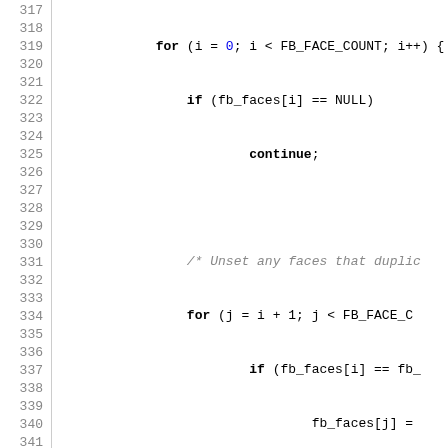[Figure (screenshot): Source code listing in C, lines 317-346, showing a for loop freeing fb_faces entries, a return statement, and the beginning of a static void fb_fill_scalar function with a switch statement.]